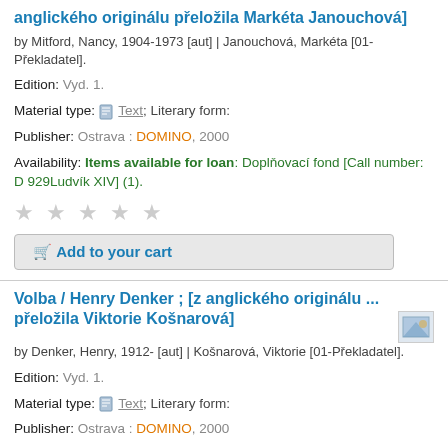anglického originálu přeložila Markéta Janouchová]
by Mitford, Nancy, 1904-1973 [aut] | Janouchová, Markéta [01-Překladatel].
Edition: Vyd. 1.
Material type: Text; Literary form:
Publisher: Ostrava : DOMINO, 2000
Availability: Items available for loan: Doplňovací fond [Call number: D 929Ludvík XIV] (1).
[Figure (other): Five empty star rating icons]
Add to your cart
Volba / Henry Denker ; [z anglického originálu ... přeložila Viktorie Košnarová]
by Denker, Henry, 1912- [aut] | Košnarová, Viktorie [01-Překladatel].
Edition: Vyd. 1.
Material type: Text; Literary form:
Publisher: Ostrava : DOMINO, 2000